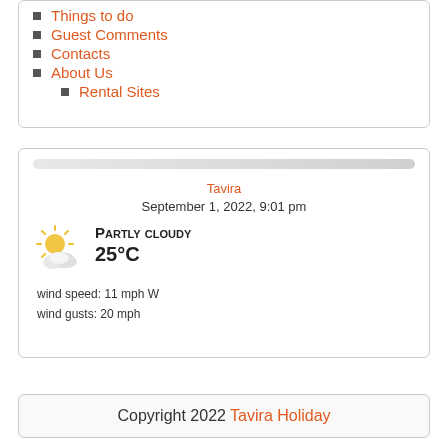Things to do
Guest Comments
Contacts
About Us
Rental Sites
Tavira
September 1, 2022, 9:01 pm
Partly cloudy
25°C
wind speed: 11 mph W
wind gusts: 20 mph
Copyright 2022 Tavira Holiday